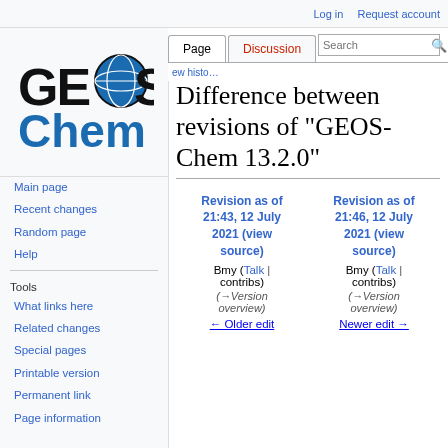Log in  Request account
[Figure (logo): GEOS-Chem logo: bold black GEOS text with globe icon, blue Chem text below]
Main page
Recent changes
Random page
Help
Tools
What links here
Related changes
Special pages
Printable version
Permanent link
Page information
Difference between revisions of "GEOS-Chem 13.2.0"
| Revision as of 21:43, 12 July 2021 (view source) | Revision as of 21:46, 12 July 2021 (view source) |
| --- | --- |
| Bmy (Talk | contribs) | Bmy (Talk | contribs) |
| (→Version overview) | (→Version overview) |
| ← Older edit | Newer edit → |